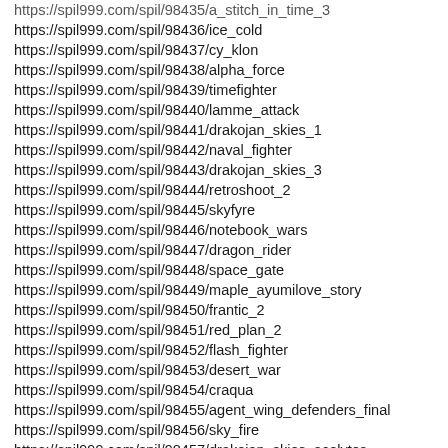https://spil999.com/spil/98435/a_stitch_in_time_3
https://spil999.com/spil/98436/ice_cold
https://spil999.com/spil/98437/cy_klon
https://spil999.com/spil/98438/alpha_force
https://spil999.com/spil/98439/timefighter
https://spil999.com/spil/98440/lamme_attack
https://spil999.com/spil/98441/drakojan_skies_1
https://spil999.com/spil/98442/naval_fighter
https://spil999.com/spil/98443/drakojan_skies_3
https://spil999.com/spil/98444/retroshoot_2
https://spil999.com/spil/98445/skyfyre
https://spil999.com/spil/98446/notebook_wars
https://spil999.com/spil/98447/dragon_rider
https://spil999.com/spil/98448/space_gate
https://spil999.com/spil/98449/maple_ayumilove_story
https://spil999.com/spil/98450/frantic_2
https://spil999.com/spil/98451/red_plan_2
https://spil999.com/spil/98452/flash_fighter
https://spil999.com/spil/98453/desert_war
https://spil999.com/spil/98454/craqua
https://spil999.com/spil/98455/agent_wing_defenders_final
https://spil999.com/spil/98456/sky_fire
https://spil999.com/spil/98457/drakojan_skies_acolytes
https://spil999.com/spil/98458/operation_kandidater
https://spil999.com/spil/169937/time_squadron
https://spil999.com/spil/169955/cartoon_flight